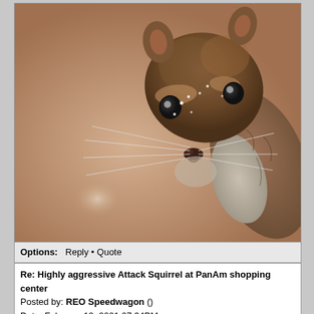[Figure (photo): Close-up photograph of a squirrel with brown/gray fur, large dark eyes, long whiskers, and snow flakes on its face, looking directly at the camera against a blurred warm brown background.]
Options:  Reply • Quote
Re: Highly aggressive Attack Squirrel at PanAm shopping center
Posted by: REO Speedwagon ()
Date: February 19, 2021 07:34PM